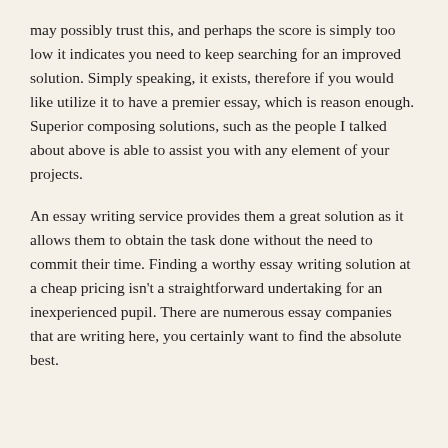may possibly trust this, and perhaps the score is simply too low it indicates you need to keep searching for an improved solution. Simply speaking, it exists, therefore if you would like utilize it to have a premier essay, which is reason enough. Superior composing solutions, such as the people I talked about above is able to assist you with any element of your projects.
An essay writing service provides them a great solution as it allows them to obtain the task done without the need to commit their time. Finding a worthy essay writing solution at a cheap pricing isn't a straightforward undertaking for an inexperienced pupil. There are numerous essay companies that are writing here, you certainly want to find the absolute best.